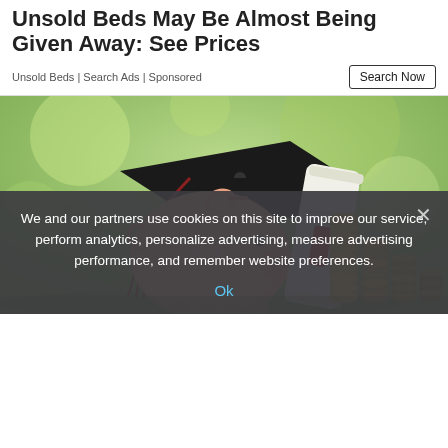Unsold Beds May Be Almost Being Given Away: See Prices
Unsold Beds | Search Ads | Sponsored
[Figure (photo): A pink piggy bank wearing a graduation cap, with a diploma leaning against it and stacks of coins arranged behind it, on a blurred green background.]
We and our partners use cookies on this site to improve our service, perform analytics, personalize advertising, measure advertising performance, and remember website preferences.
Ok